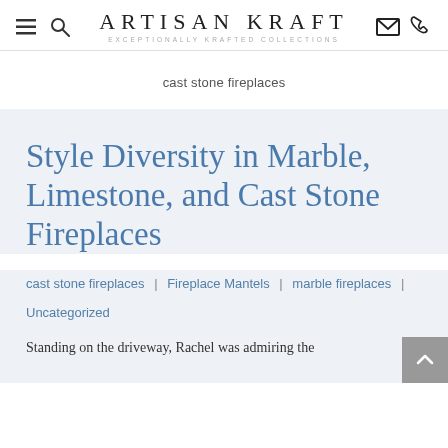ARTISAN KRAFT — EXCEPTIONALLY KRAFTED COLLECTIONS
cast stone fireplaces
Style Diversity in Marble, Limestone, and Cast Stone Fireplaces
cast stone fireplaces | Fireplace Mantels | marble fireplaces | Uncategorized
Standing on the driveway, Rachel was admiring the